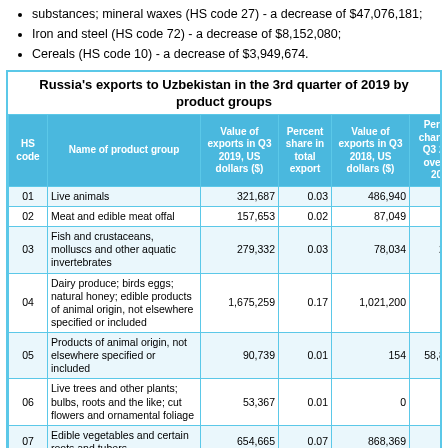substances; mineral waxes (HS code 27) - a decrease of $47,076,181;
Iron and steel (HS code 72) - a decrease of $8,152,080;
Cereals (HS code 10) - a decrease of $3,949,674.
Russia's exports to Uzbekistan in the 3rd quarter of 2019 by product groups
| HS code | Name of product group | Value of exports in Q3 2019, US dollars ($) | Percent share in total export | Value of exports in Q3 2018, US dollars ($) | Percent change in Q3 2019 over Q3 2018 |
| --- | --- | --- | --- | --- | --- |
| 01 | Live animals | 321,687 | 0.03 | 486,940 | -33.94 |
| 02 | Meat and edible meat offal | 157,653 | 0.02 | 87,049 | 81.11 |
| 03 | Fish and crustaceans, molluscs and other aquatic invertebrates | 279,332 | 0.03 | 78,034 | 257.96 |
| 04 | Dairy produce; birds eggs; natural honey; edible products of animal origin, not elsewhere specified or included | 1,675,259 | 0.17 | 1,021,200 | 64.05 |
| 05 | Products of animal origin, not elsewhere specified or included | 90,739 | 0.01 | 154 | 58,821.43 |
| 06 | Live trees and other plants; bulbs, roots and the like; cut flowers and ornamental foliage | 53,367 | 0.01 | 0 | ∞ |
| 07 | Edible vegetables and certain roots and tubers | 654,665 | 0.07 | 868,369 | -24.61 |
| 08 | Edible fruit and nuts; peel of citrus fruit or melons | 64,296 | 0.01 | 36,729 | 75.06 |